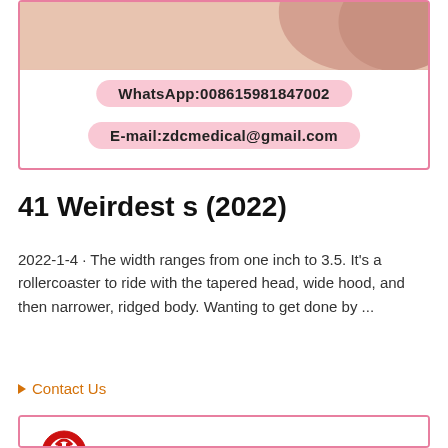[Figure (photo): Top card with pink border showing contact information on pink rounded badge labels over a photo background]
WhatsApp:008615981847002
E-mail:zdcmedical@gmail.com
41 Weirdest s (2022)
2022-1-4 · The width ranges from one inch to 3.5. It's a rollercoaster to ride with the tapered head, wide hood, and then narrower, ridged body. Wanting to get done by ...
Contact Us
[Figure (photo): Bottom card with pink border showing blue nitrile medical gloves on hands with a red company logo in upper left corner]